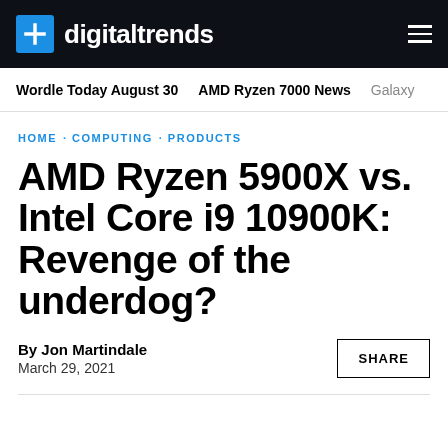digitaltrends
Wordle Today August 30 · AMD Ryzen 7000 News · Galaxy
HOME · COMPUTING · PRODUCTS
AMD Ryzen 5900X vs. Intel Core i9 10900K: Revenge of the underdog?
By Jon Martindale
March 29, 2021